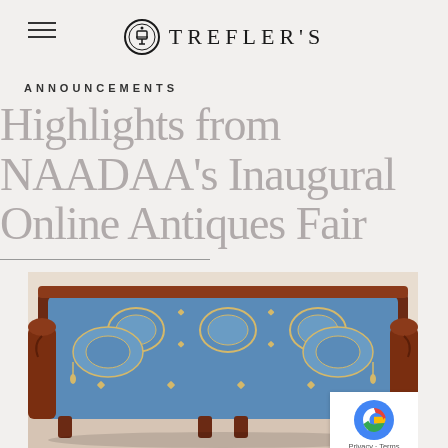TREFLER'S
ANNOUNCEMENTS
Highlights from NAADAA's Inaugural Online Antiques Fair
[Figure (photo): Antique sofa with mahogany carved frame and blue silk upholstery with gold medallion patterns and decorative pillows]